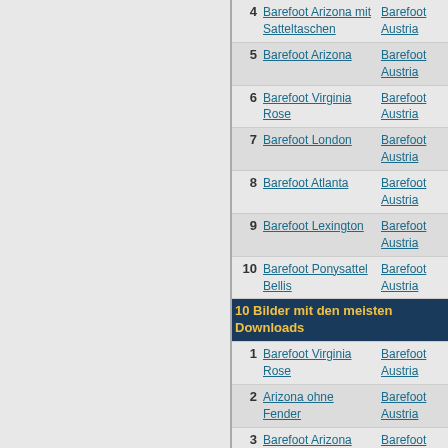| # | Name | Kategorie |
| --- | --- | --- |
| 4 | Barefoot Arizona mit Satteltaschen | Barefoot Austria |
| 5 | Barefoot Arizona | Barefoot Austria |
| 6 | Barefoot Virginia Rose | Barefoot Austria |
| 7 | Barefoot London | Barefoot Austria |
| 8 | Barefoot Atlanta | Barefoot Austria |
| 9 | Barefoot Lexington | Barefoot Austria |
| 10 | Barefoot Ponysattel Bellis | Barefoot Austria |
10 Bilder mit den meisten Downloads
| # | Name | Kategorie |
| --- | --- | --- |
| 1 | Barefoot Virginia Rose | Barefoot Austria |
| 2 | Arizona ohne Fender | Barefoot Austria |
| 3 | Barefoot Arizona | Barefoot Austria |
| 4 | Barefoot Arizona mit Reiterin | Barefoot Austria |
| 5 | Barefoot Arizona mit Satteltaschen | Barefoot Austria |
| 6 | Barefoot Atlanta | Barefoot Austria |
| 7 | Barefoot Cherokee | Barefoot Austria |
| 8 | Barefoot Cl... | Barefoot Austria |